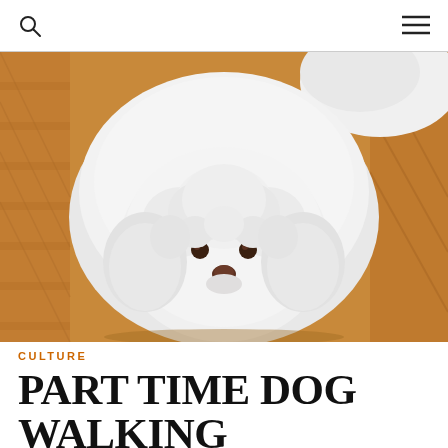[Figure (photo): Close-up photo of a fluffy white Bichon Frise or Poodle-type dog looking up at the camera, sitting on a light wood herringbone floor]
CULTURE
PART TIME DOG WALKING